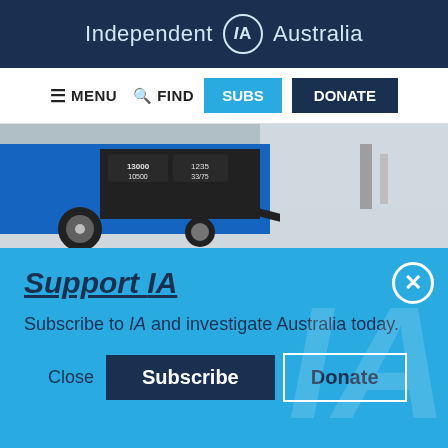Independent IA Australia
[Figure (screenshot): Navigation bar with MENU, FIND, SUBS (cyan button), DONATE (dark blue button)]
[Figure (photo): Photo of a large blue portable generator with black cables and wheels on a concrete surface]
Support IA
Subscribe to IA and investigate Australia today.
Close  Subscribe  Donate
Twitter, Facebook, LinkedIn, Flipboard, Link, Plus social media icons